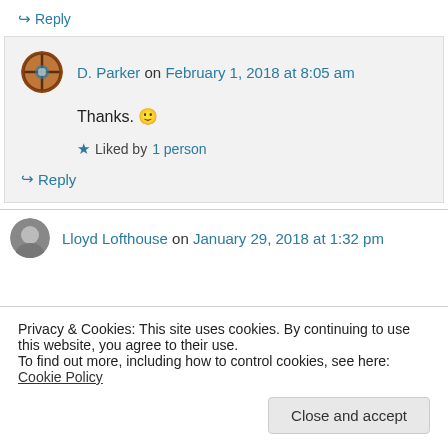↪ Reply
D. Parker on February 1, 2018 at 8:05 am
Thanks. 🙂
★ Liked by 1 person
↪ Reply
Lloyd Lofthouse on January 29, 2018 at 1:32 pm
Privacy & Cookies: This site uses cookies. By continuing to use this website, you agree to their use.
To find out more, including how to control cookies, see here: Cookie Policy
Close and accept